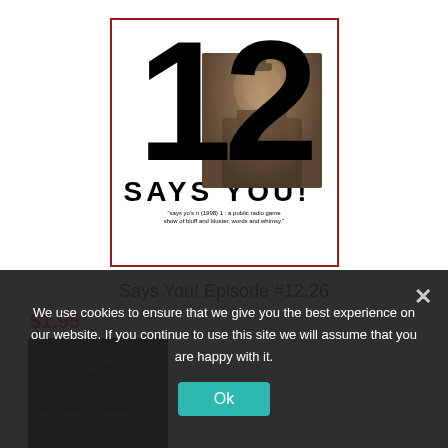[Figure (illustration): Album/podcast cover art for 'Says You! Episode #12.26' — large bold number '12' in black with a photo of a man at a microphone overlaid on the '2', text 'SAYS YOU!' in large bold letters, tagline in small text below, all within a dark red border]
Says You! Episode #12.26
$1.95
We use cookies to ensure that we give you the best experience on our website. If you continue to use this site we will assume that you are happy with it.
[Figure (screenshot): Partially visible second album cover at bottom of page showing dark background with large numbers]